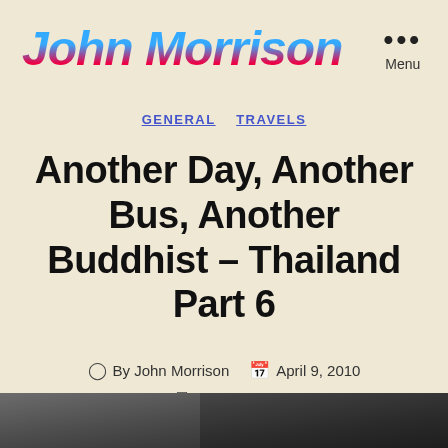John Morrison  ··· Menu
GENERAL   TRAVELS
Another Day, Another Bus, Another Buddhist – Thailand Part 6
By John Morrison   April 9, 2010   1 Comment
[Figure (photo): Dark photograph strip at the bottom of the page]